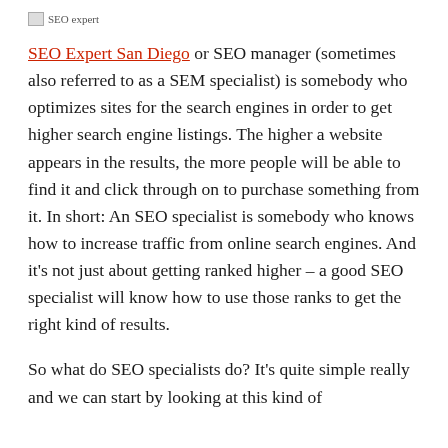[Figure (other): Small broken/placeholder image icon labeled 'SEO expert']
SEO Expert San Diego or SEO manager (sometimes also referred to as a SEM specialist) is somebody who optimizes sites for the search engines in order to get higher search engine listings. The higher a website appears in the results, the more people will be able to find it and click through on to purchase something from it. In short: An SEO specialist is somebody who knows how to increase traffic from online search engines. And it's not just about getting ranked higher – a good SEO specialist will know how to use those ranks to get the right kind of results.
So what do SEO specialists do? It's quite simple really and we can start by looking at this kind of